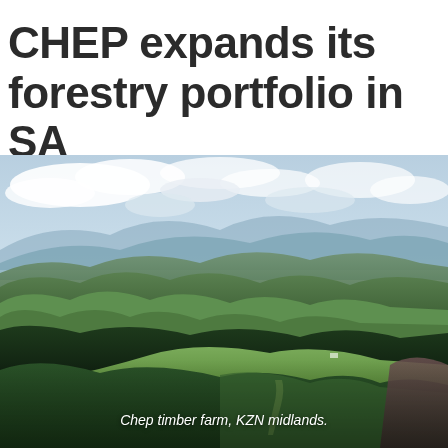CHEP expands its forestry portfolio in SA
[Figure (photo): Aerial landscape photograph of rolling green hills with dense pine timber plantations in the foreground and mountains in the background under a partly cloudy sky. Chep timber farm, KZN midlands.]
Chep timber farm, KZN midlands.